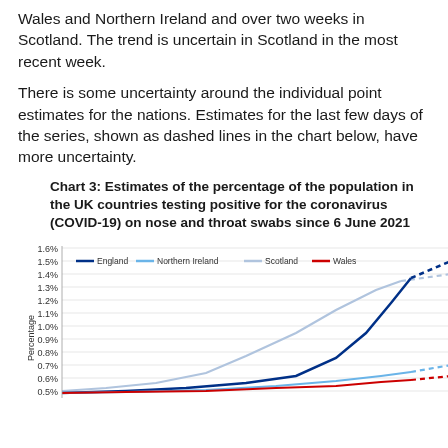Wales and Northern Ireland and over two weeks in Scotland. The trend is uncertain in Scotland in the most recent week.
There is some uncertainty around the individual point estimates for the nations. Estimates for the last few days of the series, shown as dashed lines in the chart below, have more uncertainty.
Chart 3: Estimates of the percentage of the population in the UK countries testing positive for the coronavirus (COVID-19) on nose and throat swabs since 6 June 2021
[Figure (line-chart): Line chart showing percentage testing positive over time since 6 June 2021. England (dark navy) rises steeply to about 1.5% with dashed ending. Scotland (light blue/grey) rises to about 1.3% with dashed ending. Northern Ireland (light blue) rises to about 0.65% with dashed ending. Wales (red) rises to about 0.55% with dashed ending. Y-axis from 0.5% to 1.6%.]